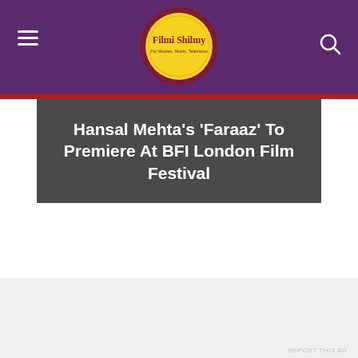Filmi Shilmy
Hansal Mehta's 'Faraaz' To Premiere At BFI London Film Festival
Advertisements
REPORT THIS AD